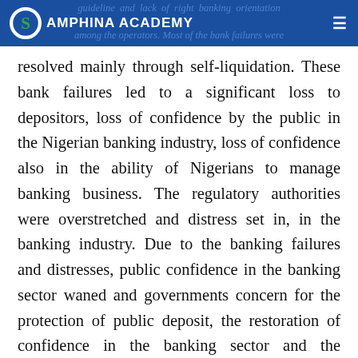guideline and lack of right banking orientation | AMPHINA ACADEMY | among the operators. Most of the bank failures were
resolved mainly through self-liquidation. These bank failures led to a significant loss to depositors, loss of confidence by the public in the Nigerian banking industry, loss of confidence also in the ability of Nigerians to manage banking business. The regulatory authorities were overstretched and distress set in, in the banking industry. Due to the banking failures and distresses, public confidence in the banking sector waned and governments concern for the protection of public deposit, the restoration of confidence in the banking sector and the financial system generally prompted government's